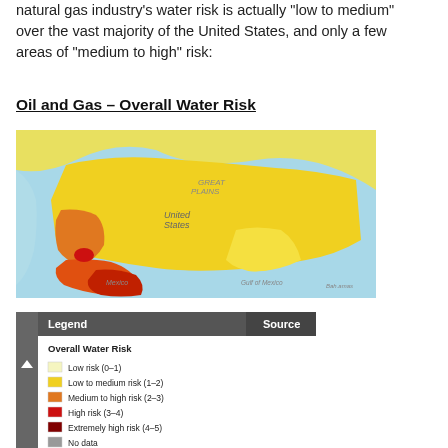natural gas industry's water risk is actually "low to medium" over the vast majority of the United States, and only a few areas of "medium to high" risk:
Oil and Gas – Overall Water Risk
[Figure (map): Color-coded map of North America showing Overall Water Risk for oil and gas industry. Most of the United States is colored yellow (low to medium risk). Parts of the southwest and Mexico show orange and red (medium to high and high risk). Canada and coastal areas are light blue/teal.]
[Figure (other): Legend panel for the map showing Overall Water Risk categories: Low risk (0-1) in light yellow, Low to medium risk (1-2) in yellow, Medium to high risk (2-3) in orange, High risk (3-4) in red, Extremely high risk (4-5) in dark red, No data in gray. Panel includes a 'Source' tab.]